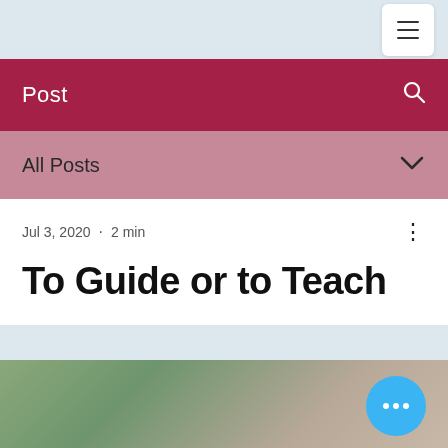Post
All Posts
Jul 3, 2020 · 2 min
To Guide or to Teach
[Figure (photo): Blurred photo of a person outdoors with greenery, partially visible at the bottom of the page]